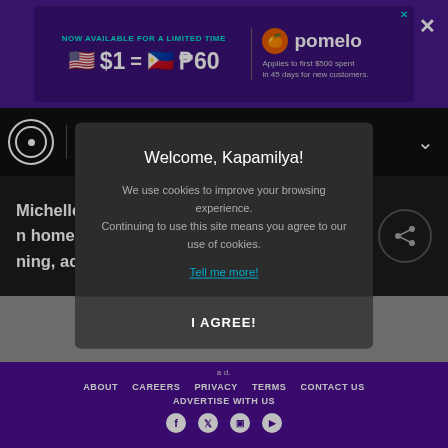[Figure (screenshot): Advertisement banner: NOW AVAILABLE FOR A LIMITED TIME, $1 = ₱60, Applies to first $500 spent in 45 days for new customers. Pomelo logo.]
ADVERTISE WITH US
Michelle Vito on home gardening, acting ex ...
Welcome, Kapamilya!

We use cookies to improve your browsing experience.
Continuing to use this site means you agree to our use of cookies.

Tell me more!

I AGREE!
ABOUT   CAREERS   PRIVACY   TERMS   CONTACT US
ADVERTISE WITH US